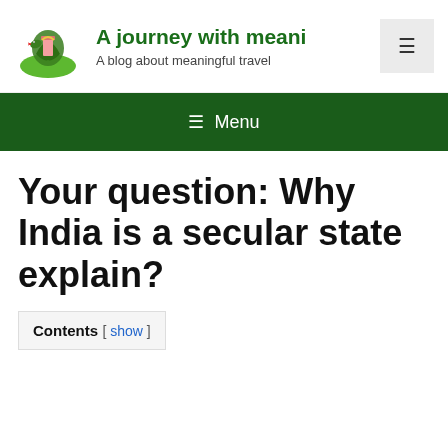A journey with meani... — A blog about meaningful travel
[Figure (logo): Illustrated logo of a snake wrapped around a structure on a green hill]
≡ Menu
Your question: Why India is a secular state explain?
Contents [ show ]